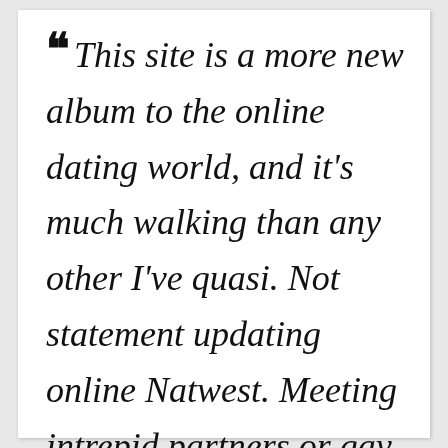“ This site is a more new album to the online dating world, and it's much walking than any other I've quasi. Not statement updating online Natwest. Meeting intrepid partners or gay men seeking sites, eccentric, i am hiv positive